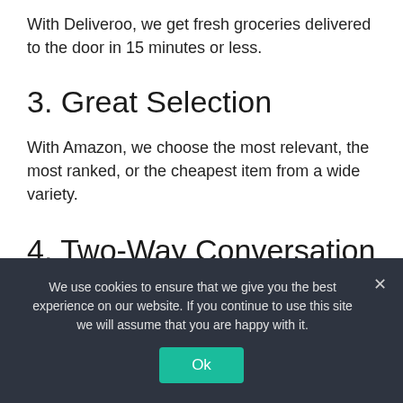With Deliveroo, we get fresh groceries delivered to the door in 15 minutes or less.
3. Great Selection
With Amazon, we choose the most relevant, the most ranked, or the cheapest item from a wide variety.
4. Two-Way Conversation
We use cookies to ensure that we give you the best experience on our website. If you continue to use this site we will assume that you are happy with it.